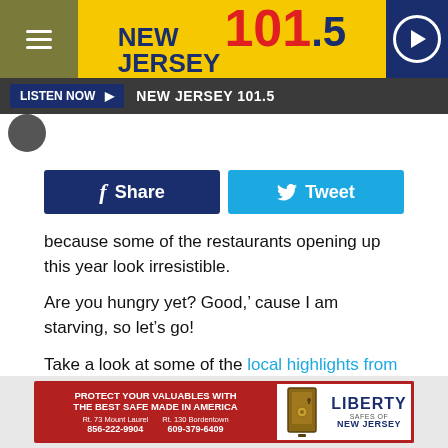NEW JERSEY 101.5
[Figure (screenshot): New Jersey 101.5 radio station website header with yellow logo banner, hamburger menu, and play button]
LISTEN NOW ▶  NEW JERSEY 101.5
[Figure (other): Facebook Share button and Twitter Tweet button]
because some of the restaurants opening up this year look irresistible.
Are you hungry yet? Good, cause I am starving, so let's go!
Take a look at some of the local highlights from NJ.com and take your pick.
[Figure (other): Advertisement for Liberty Safes of New Jersey: PROTECT YOUR VALUABLES WITH THE BEST SAFE MADE IN AMERICA. Rt. 73 Mount Laurel 856-222-9904, Rt. 130 Bordentown 609-379-6409]